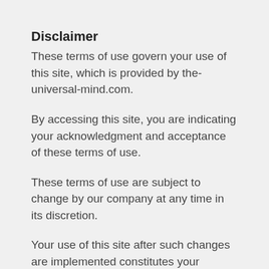Disclaimer
These terms of use govern your use of this site, which is provided by the-universal-mind.com.
By accessing this site, you are indicating your acknowledgment and acceptance of these terms of use.
These terms of use are subject to change by our company at any time in its discretion.
Your use of this site after such changes are implemented constitutes your acknowledgment and acceptance of the